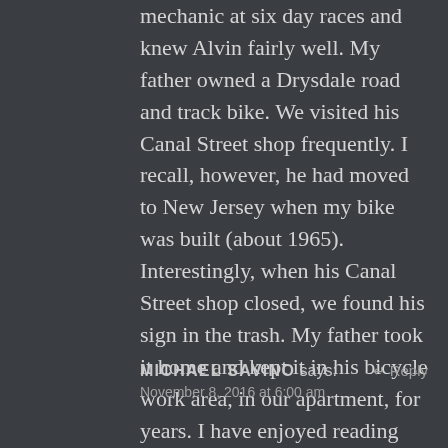mechanic at six day races and knew Alvin fairly well. My father owned a Drysdale road and track bike. We visited his Canal Street shop frequently. I recall, however, he had moved to New Jersey when my bike was built (about 1965). Interestingly, when his Canal Street shop closed, we found his sign in the trash. My father took it home and kept it in his bicycle work area, in our apartment, for years. I have enjoyed reading these entries.
MICHAEL SAVINO says: November 8, 2016 at 6:00 am